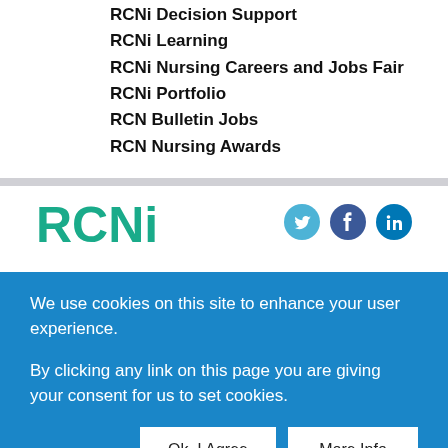RCNi Decision Support
RCNi Learning
RCNi Nursing Careers and Jobs Fair
RCNi Portfolio
RCN Bulletin Jobs
RCN Nursing Awards
[Figure (logo): RCNi logo in teal/green color with partial visibility, and three social media icons (Twitter, Facebook, LinkedIn) partially visible on the right]
We use cookies on this site to enhance your user experience.

By clicking any link on this page you are giving your consent for us to set cookies.
Ok, I Agree
More Info